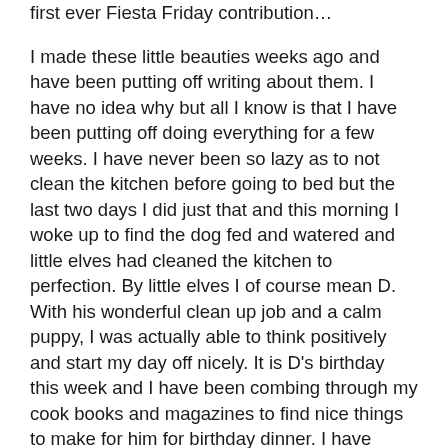first ever Fiesta Friday contribution…
I made these little beauties weeks ago and have been putting off writing about them. I have no idea why but all I know is that I have been putting off doing everything for a few weeks. I have never been so lazy as to not clean the kitchen before going to bed but the last two days I did just that and this morning I woke up to find the dog fed and watered and little elves had cleaned the kitchen to perfection. By little elves I of course mean D. With his wonderful clean up job and a calm puppy, I was actually able to think positively and start my day off nicely. It is D's birthday this week and I have been combing through my cook books and magazines to find nice things to make for him for birthday dinner. I have made my lists and time plans and am feeling energized.  So while D is working, I have a few hours to catch up on my blog. I am going to post about Macarons. If you can remember I made